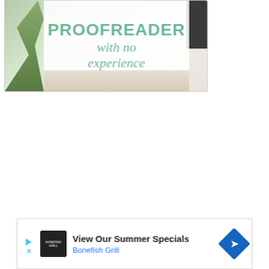[Figure (illustration): Promotional image with text overlay reading 'PROOFREADER with no experience' in green/teal font on a white card background, with plants and desk items visible around the card.]
[Figure (infographic): Advertisement banner for Bonefish Grill with play button icon, restaurant logo, text 'View Our Summer Specials', 'Bonefish Grill' in blue, and a blue diamond navigation arrow on the right.]